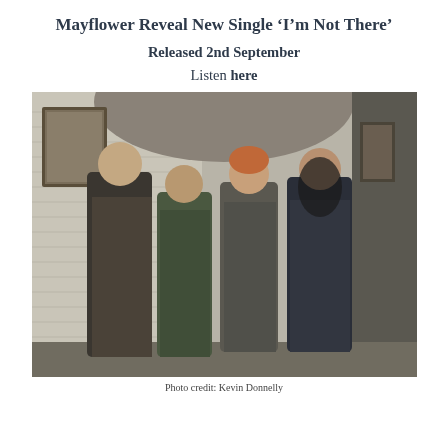Mayflower Reveal New Single ‘I’m Not There’
Released 2nd September
Listen here
[Figure (photo): Four young men standing in a brick hallway/corridor, wearing casual jackets and coats, looking toward the camera.]
Photo credit: Kevin Donnelly